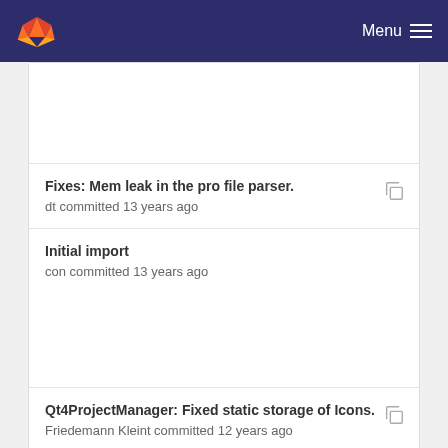GitLab Menu
Fixes: Mem leak in the pro file parser.
dt committed 13 years ago
Initial import
con committed 13 years ago
Qt4ProjectManager: Fixed static storage of Icons.
Friedemann Kleint committed 12 years ago
Fixed indentation of InternalNode
Thorbjørn Lindeijer committed 12 years ago